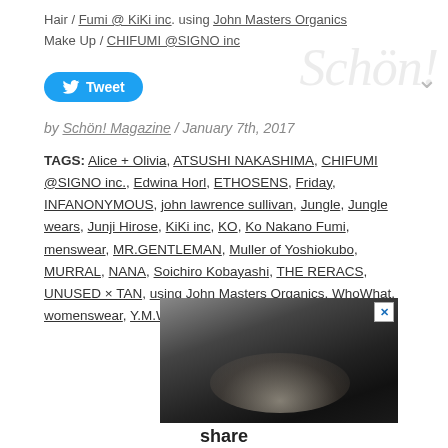Hair / Fumi @ KiKi inc. using John Masters Organics
Make Up / CHIFUMI @SIGNO inc
Tweet
by Schön! Magazine / January 7th, 2017
TAGS: Alice + Olivia, ATSUSHI NAKASHIMA, CHIFUMI @SIGNO inc., Edwina Horl, ETHOSENS, Friday, INFANONYMOUS, john lawrence sullivan, Jungle, Jungle wears, Junji Hirose, KiKi inc, KO, Ko Nakano Fumi, menswear, MR.GENTLEMAN, Muller of Yoshiokubo, MURRAL, NANA, Soichiro Kobayashi, THE RERACS, UNUSED × TAN, using John Masters Organics, WhoWhat, womenswear, Y.M.Walts
[Figure (photo): Close-up photograph of a human head/hair, dark background with lighting highlight, advertisement image]
share